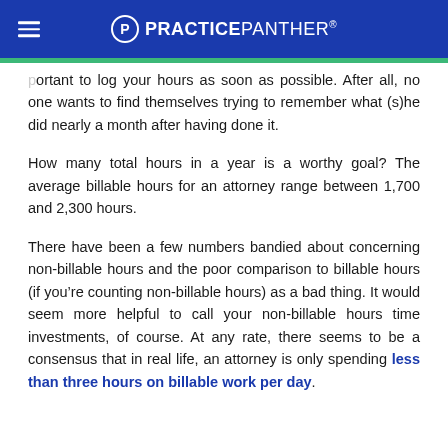PRACTICEPANTHER
portant to log your hours as soon as possible. After all, no one wants to find themselves trying to remember what (s)he did nearly a month after having done it.
How many total hours in a year is a worthy goal? The average billable hours for an attorney range between 1,700 and 2,300 hours.
There have been a few numbers bandied about concerning non-billable hours and the poor comparison to billable hours (if you’re counting non-billable hours) as a bad thing. It would seem more helpful to call your non-billable hours time investments, of course. At any rate, there seems to be a consensus that in real life, an attorney is only spending less than three hours on billable work per day.